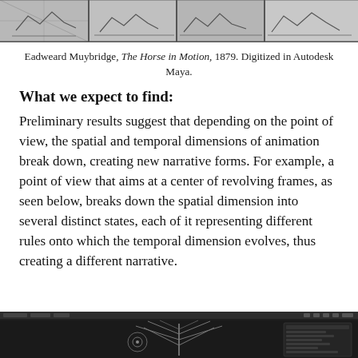[Figure (photo): Strip of sequential horse-in-motion photograph panels (Muybridge style), shown as sketched/digitized frames in black and white]
Eadweard Muybridge, The Horse in Motion, 1879. Digitized in Autodesk Maya.
What we expect to find:
Preliminary results suggest that depending on the point of view, the spatial and temporal dimensions of animation break down, creating new narrative forms. For example, a point of view that aims at a center of revolving frames, as seen below, breaks down the spatial dimension into several distinct states, each of it representing different rules onto which the temporal dimension evolves, thus creating a different narrative.
[Figure (screenshot): Dark Autodesk Maya interface screenshot showing a 3D scene with skeletal/feather-like structures]